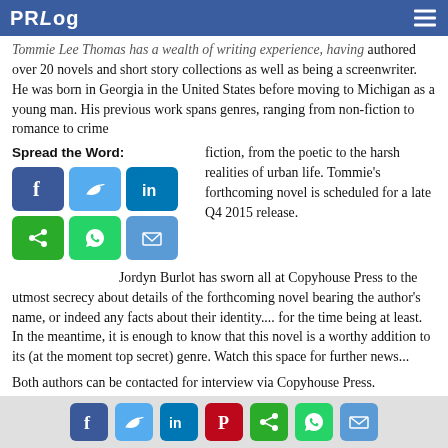PRLog
Tommie Lee Thomas has a wealth of writing experience, having authored over 20 novels and short story collections as well as being a screenwriter. He was born in Georgia in the United States before moving to Michigan as a young man. His previous work spans genres, ranging from non-fiction to romance to crime fiction, from the poetic to the harsh realities of urban life. Tommie's forthcoming novel is scheduled for a late Q4 2015 release.
Spread the Word:
[Figure (infographic): Social sharing icons: Facebook, Twitter, LinkedIn, share, WhatsApp, email]
Jordyn Burlot has sworn all at Copyhouse Press to the utmost secrecy about details of the forthcoming novel bearing the author's name, or indeed any facts about their identity.... for the time being at least. In the meantime, it is enough to know that this novel is a worthy addition to its (at the moment top secret) genre. Watch this space for further news...
Both authors can be contacted for interview via Copyhouse Press.
Copyhouse Press is a provider of premium publishing services based in the UK. It is a market leader in the field of publishers accepting unsolicited manuscripts. For more information, please visit the Copyhouse Press website at
Social sharing footer icons: Facebook, Twitter, LinkedIn, Pinterest, share, WhatsApp, email